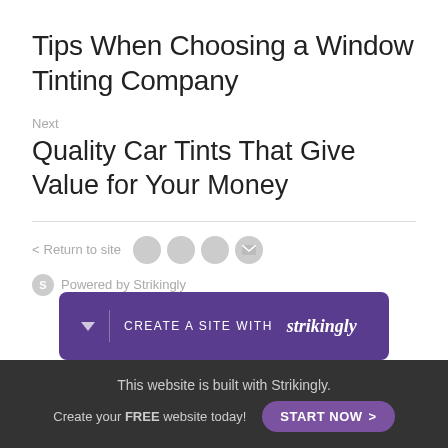Tips When Choosing a Window Tinting Company
Next
Quality Car Tints That Give Value for Your Money
< Return to site
Powered by Strikingly
[Figure (other): Purple banner: CREATE A SITE WITH strikingly]
This website is built with Strikingly. Create your FREE website today! START NOW >